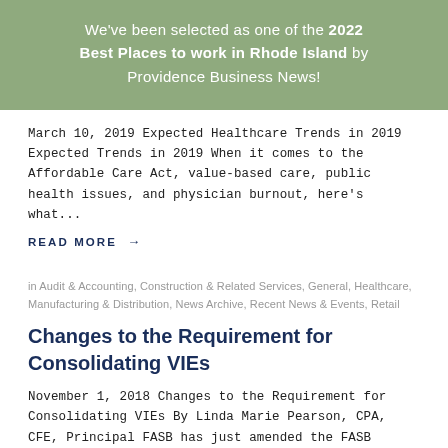We've been selected as one of the 2022 Best Places to work in Rhode Island by Providence Business News!
March 10, 2019 Expected Healthcare Trends in 2019 Expected Trends in 2019 When it comes to the Affordable Care Act, value-based care, public health issues, and physician burnout, here's what...
READ MORE →
in Audit & Accounting, Construction & Related Services, General, Healthcare, Manufacturing & Distribution, News Archive, Recent News & Events, Retail
Changes to the Requirement for Consolidating VIEs
November 1, 2018 Changes to the Requirement for Consolidating VIEs By Linda Marie Pearson, CPA, CFE, Principal FASB has just amended the FASB Accounting Standards Codification